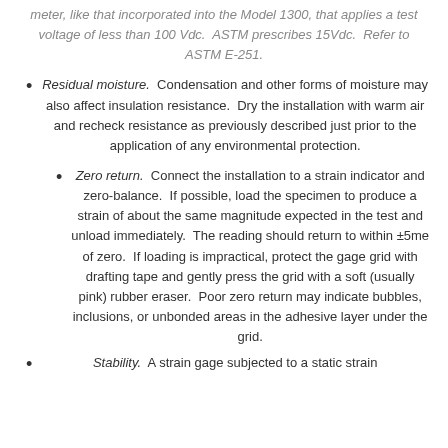meter, like that incorporated into the Model 1300, that applies a test voltage of less than 100 Vdc.  ASTM prescribes 15Vdc.  Refer to ASTM E-251.
Residual moisture.  Condensation and other forms of moisture may also affect insulation resistance.  Dry the installation with warm air and recheck resistance as previously described just prior to the application of any environmental protection.
Zero return.  Connect the installation to a strain indicator and zero-balance.  If possible, load the specimen to produce a strain of about the same magnitude expected in the test and unload immediately.  The reading should return to within ±5me of zero.  If loading is impractical, protect the gage grid with drafting tape and gently press the grid with a soft (usually pink) rubber eraser.  Poor zero return may indicate bubbles, inclusions, or unbonded areas in the adhesive layer under the grid.
Stability.  A strain gage subjected to a static strain